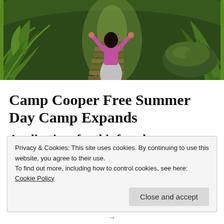[Figure (photo): A girl with arms raised standing on wooden steps in a lush forest with ferns and large mossy rocks, wearing a pink top and gray skirt, viewed from behind]
Camp Cooper Free Summer Day Camp Expands
Applications for this free day
Privacy & Cookies: This site uses cookies. By continuing to use this website, you agree to their use.
To find out more, including how to control cookies, see here: Cookie Policy
Close and accept